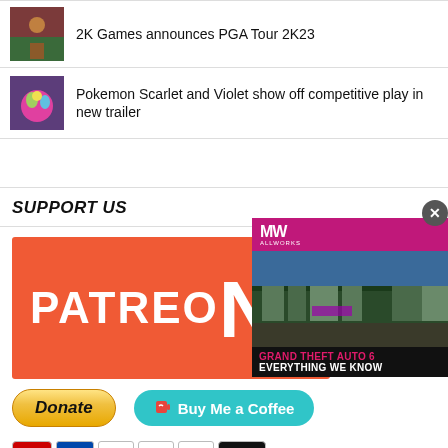2K Games announces PGA Tour 2K23
Pokemon Scarlet and Violet show off competitive play in new trailer
SUPPORT US
[Figure (logo): Patreon orange banner with white bold text reading PATREON]
[Figure (screenshot): Donate button with PayPal styling and payment card icons below; Buy Me a Coffee teal button]
[Figure (screenshot): Video overlay popup with MW logo on pink header, video thumbnail of Grand Theft Auto 6 game footage with play button, caption reading GRAND THEFT AUTO 6 EVERYTHING WE KNOW, and X close button]